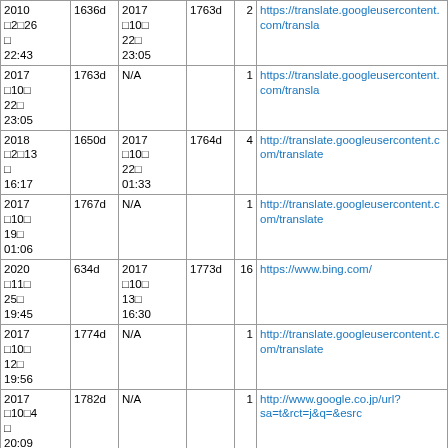| 2010　2 26  22:43 | 1636d | 2017 10 22 23:05 | 1763d | 2 | https://translate.googleusercontent.com/transla... |
| 2017 10 22 23:05 | 1763d | N/A |  | 1 | https://translate.googleusercontent.com/transla... |
| 2018　2 13 16:17 | 1650d | 2017 10 22 01:33 | 1764d | 4 | http://translate.googleusercontent.com/translate... |
| 2017 10 19 01:06 | 1767d | N/A |  | 1 | http://translate.googleusercontent.com/translate... |
| 2020 11 25 19:45 | 634d | 2017 10 13 16:30 | 1773d | 16 | https://www.bing.com/ |
| 2017 10 12 19:56 | 1774d | N/A |  | 1 | http://translate.googleusercontent.com/translate... |
| 2017 10 4 20:09 | 1782d | N/A |  | 1 | http://www.google.co.jp/url?sa=t&rct=j&q=&esrc... |
| 2017 10 4 13:18 | 1782d | N/A |  | 1 | http://219.94.254.32/talewiki.php?Skill/日日 |